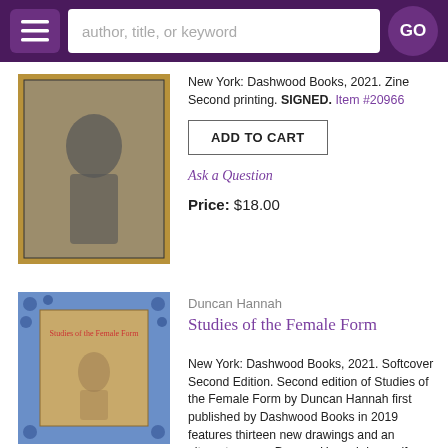author, title, or keyword [search bar] GO
New York: Dashwood Books, 2021. Zine Second printing. SIGNED. Item #20966
ADD TO CART
Ask a Question
Price: $18.00
Duncan Hannah
Studies of the Female Form
New York: Dashwood Books, 2021. Softcover Second Edition. Second edition of Studies of the Female Form by Duncan Hannah first published by Dashwood Books in 2019 features thirteen new drawings and an alternate cover. Duncan Hannah is a self